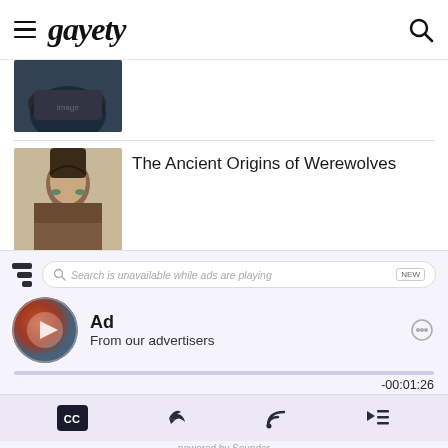gayety
[Figure (photo): Partially visible thumbnail image of a person in a car]
[Figure (photo): Thumbnail portrait of a young man with long dark hair and light eyes]
The Ancient Origins of Werewolves
[Figure (screenshot): Sounder podcast widget with search bar showing 'Search is unavailable while ads are playing', Ad from advertisers, play button, progress bar showing -00:01:26, and controls for CC, share, RSS, and playlist]
Ad
From our advertisers
-00:01:26
powered by Sounder